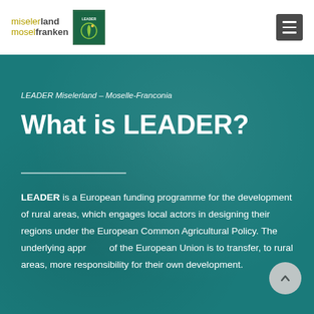miselerland moselfranken
LEADER Miselerland – Moselle-Franconia
What is LEADER?
LEADER is a European funding programme for the development of rural areas, which engages local actors in designing their regions under the European Common Agricultural Policy. The underlying approach of the European Union is to transfer, to rural areas, more responsibility for their own development.